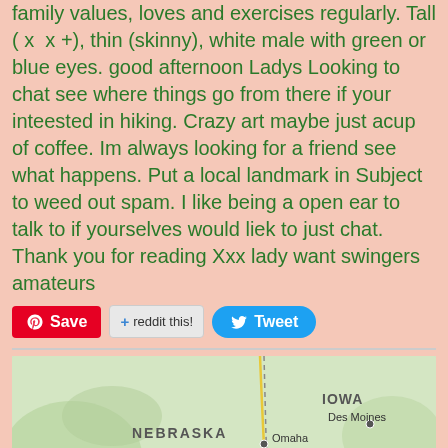family values, loves and exercises regularly. Tall ( x  x +), thin (skinny), white male with green or blue eyes. good afternoon Ladys Looking to chat see where things go from there if your inteested in hiking. Crazy art maybe just acup of coffee. Im always looking for a friend see what happens. Put a local landmark in Subject to weed out spam. I like being a open ear to talk to if yourselves would liek to just chat. Thank you for reading Xxx lady want swingers amateurs
[Figure (other): Social sharing buttons: Pinterest Save, reddit this!, Tweet]
[Figure (map): Map showing Nebraska, Iowa, with cities Omaha, Lincoln, Des Moines, Kansas City marked. Label 'States' in bottom left.]